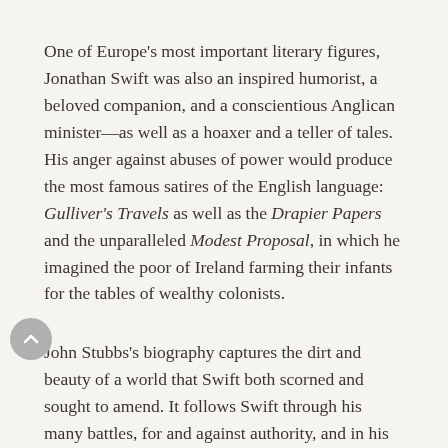One of Europe's most important literary figures, Jonathan Swift was also an inspired humorist, a beloved companion, and a conscientious Anglican minister—as well as a hoaxer and a teller of tales. His anger against abuses of power would produce the most famous satires of the English language: Gulliver's Travels as well as the Drapier Papers and the unparalleled Modest Proposal, in which he imagined the poor of Ireland farming their infants for the tables of wealthy colonists.
John Stubbs's biography captures the dirt and beauty of a world that Swift both scorned and sought to amend. It follows Swift through his many battles, for and against authority, and in his many contradictions.